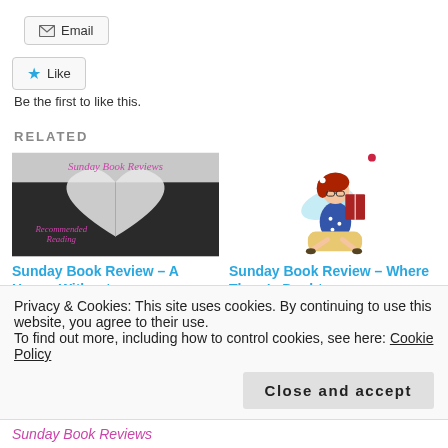[Figure (other): Email button with envelope icon]
[Figure (other): Like button with star icon]
Be the first to like this.
RELATED
[Figure (photo): Sunday Book Reviews – Recommended Reading – open book with pages forming a heart shape]
[Figure (illustration): Cartoon fairy girl reading a book]
Sunday Book Review – A House Without
Sunday Book Review – Where There's Doubt
Privacy & Cookies: This site uses cookies. By continuing to use this website, you agree to their use.
To find out more, including how to control cookies, see here: Cookie Policy
[Figure (other): Close and accept button]
Sunday Book Reviews